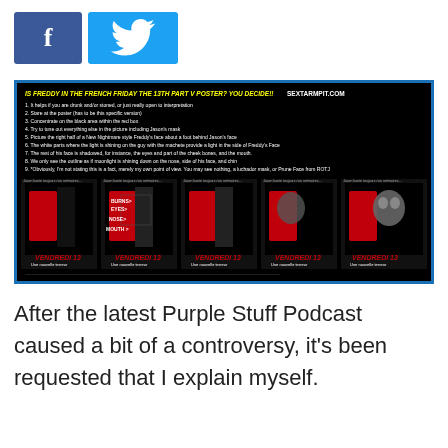[Figure (screenshot): Social media share buttons: Facebook (blue square with 'f') and Twitter (light blue square with bird icon)]
[Figure (screenshot): A black background image titled 'IS FREDDY IN THE FRENCH FRIDAY THE 13TH PART V POSTER? YOU DECIDE!!' from SEXTARMPIT.COM, showing 9 numbered instructions and 5 French Friday the 13th movie poster variations labeled VENDREDI 13, with annotations like BURNS, EYES, NOSE, MOUTH pointing at features in one poster.]
After the latest Purple Stuff Podcast caused a bit of a controversy, it's been requested that I explain myself.